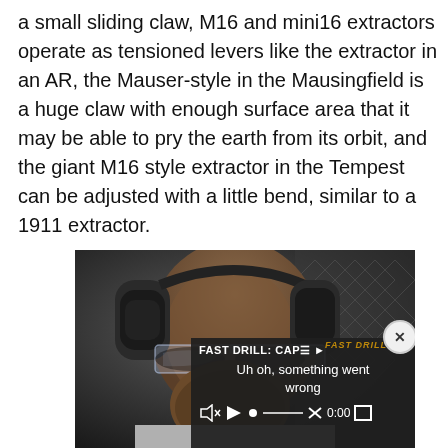a small sliding claw, M16 and mini16 extractors operate as tensioned levers like the extractor in an AR, the Mauser-style in the Mausingfield is a huge claw with enough surface area that it may be able to pry the earth from its orbit, and the giant M16 style extractor in the Tempest can be adjusted with a little bend, similar to a 1911 extractor.
[Figure (photo): Photo of a man wearing tactical hearing protection/earmuffs and safety glasses, with a video player overlay showing 'FAST DRILL: CAP=' and an error message 'Uh oh, something went wrong' with playback controls showing 0:00]